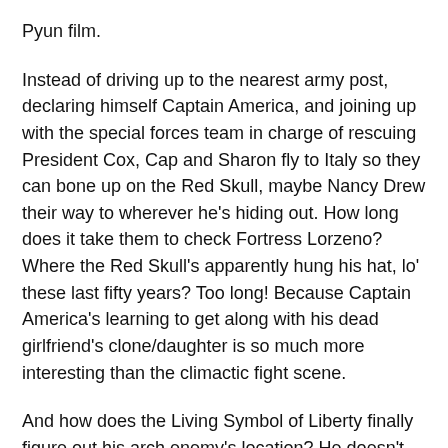Pyun film.
Instead of driving up to the nearest army post, declaring himself Captain America, and joining up with the special forces team in charge of rescuing President Cox, Cap and Sharon fly to Italy so they can bone up on the Red Skull, maybe Nancy Drew their way to wherever he’s hiding out. How long does it take them to check Fortress Lorzeno? Where the Red Skull’s apparently hung his hat, lo’ these last fifty years? Too long! Because Captain America’s learning to get along with his dead girlfriend’s clone/daughter is so much more interesting than the climactic fight scene.
And how does the Living Symbol of Liberty finally figure out his arch enemy’s location? He doesn’t. All he does it get ambushed by the Red Skull’s Angels in some random “Italian” plaza. After evading them and circling back around it’s, not Steve, but Sharon who finds the Red Skull’s daughter’s purse amidst the post-battle rubble. Inside, Sharon finds the female